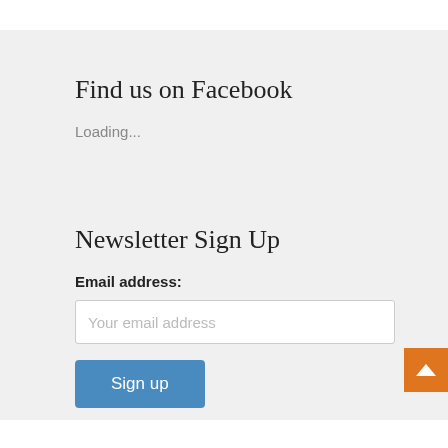Find us on Facebook
Loading...
Newsletter Sign Up
Email address:
Your email address
Sign up